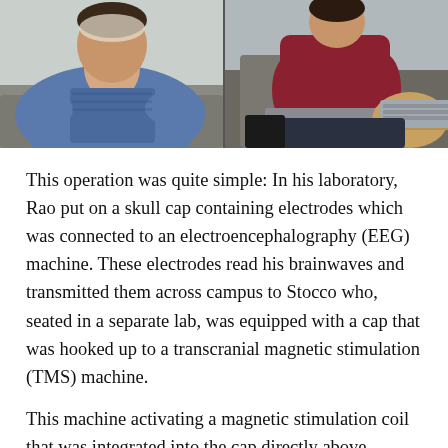[Figure (photo): Two photos side by side: left shows a man in a blue shirt reclining with a skull cap containing EEG electrodes; right shows a person seated with a laptop keyboard on their lap.]
This operation was quite simple: In his laboratory, Rao put on a skull cap containing electrodes which was connected to an electroencephalography (EEG) machine. These electrodes read his brainwaves and transmitted them across campus to Stocco who, seated in a separate lab, was equipped with a cap that was hooked up to a transcranial magnetic stimulation (TMS) machine.
This machine activating a magnetic stimulation coil that was integrated into the cap directly above Stocco's left motor cortex, the part of the brain that controls movements of the hands. Back in Rao's lab, he watched a screen displaying a video game...